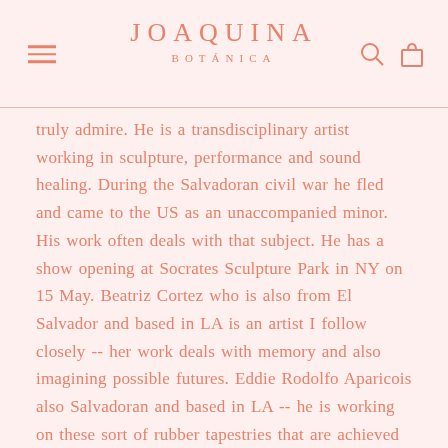JOAQUINA BOTÁNICA
truly admire. He is a transdisciplinary artist working in sculpture, performance and sound healing. During the Salvadoran civil war he fled and came to the US as an unaccompanied minor.  His work often deals with that subject. He has a show opening at Socrates Sculpture Park in NY on 15 May. Beatriz Cortez who is also from El Salvador and based in LA is an artist I follow closely -- her work deals with memory and also imagining possible futures. Eddie Rodolfo Aparicois also Salvadoran and based in LA -- he is working on these sort of rubber tapestries that are achieved by painting layer of rubber onto a tree until they are thick enough to be peeled off -- I find this way of documenting nature and a landscape quite fascinating.

I was in Mexico about a week ago and got to see so many wonderful artists. A standout was Renata Morales. We are showing her work here at Dallas Contemporary this fall. She